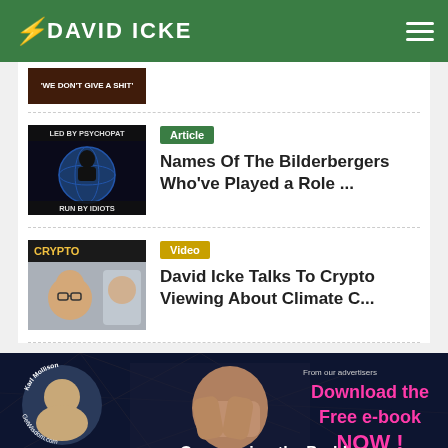DAVID ICKE
[Figure (screenshot): Partial thumbnail of previous article with text 'WE DON'T GIVE A SHIT']
[Figure (screenshot): Article thumbnail: globe with text 'LED BY PSYCHOPATS' / 'RUN BY IDIOTS']
Article
Names Of The Bilderbergers Who've Played a Role ...
[Figure (screenshot): Video thumbnail: CRYPTO with man's face]
Video
David Icke Talks To Crypto Viewing About Climate C...
[Figure (photo): Ad banner: Karl Mollison GetWisdom.com, person covering face with hands, text 'From our advertisers Download the Free e-book NOW!', 'Overcoming the Problem']